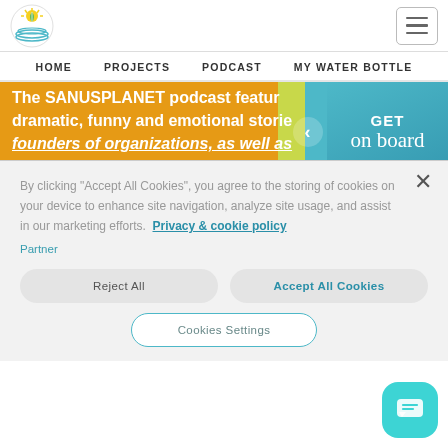[Figure (logo): SanusPlanet circular logo with plant/leaf and water waves icon]
[Figure (illustration): Hamburger menu icon button]
HOME   PROJECTS   PODCAST   MY WATER BOTTLE
[Figure (illustration): Banner with text: The SANUSPLANET podcast featur... dramatic, funny and emotional storie... founders of organizations, as well as interviews... with GET on board panel on right]
By clicking “Accept All Cookies”, you agree to the storing of cookies on your device to enhance site navigation, analyze site usage, and assist in our marketing efforts. Privacy & cookie policy
Partner
Reject All
Accept All Cookies
Cookies Settings